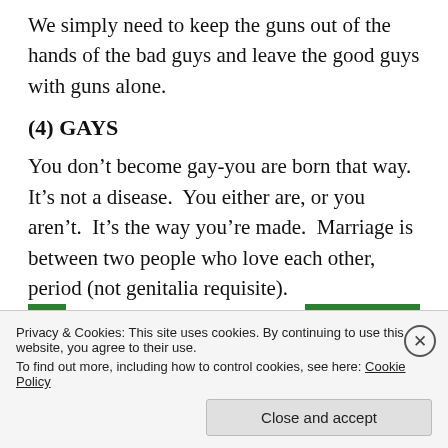We simply need to keep the guns out of the hands of the bad guys and leave the good guys with guns alone.
(4) GAYS
You don’t become gay-you are born that way.  It’s not a disease.  You either are, or you aren’t.  It’s the way you’re made.  Marriage is between two people who love each other, period (not genitalia requisite).
Back up your site
Privacy & Cookies: This site uses cookies. By continuing to use this website, you agree to their use.
To find out more, including how to control cookies, see here: Cookie Policy
Close and accept